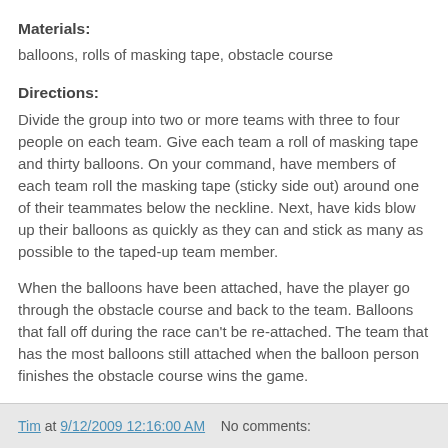Materials:
balloons, rolls of masking tape, obstacle course
Directions:
Divide the group into two or more teams with three to four people on each team. Give each team a roll of masking tape and thirty balloons. On your command, have members of each team roll the masking tape (sticky side out) around one of their teammates below the neckline. Next, have kids blow up their balloons as quickly as they can and stick as many as possible to the taped-up team member.
When the balloons have been attached, have the player go through the obstacle course and back to the team. Balloons that fall off during the race can't be re-attached. The team that has the most balloons still attached when the balloon person finishes the obstacle course wins the game.
Tim at 9/12/2009 12:16:00 AM   No comments: